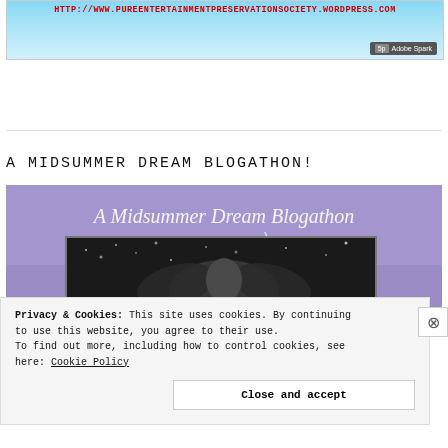[Figure (illustration): Website banner with light blue background showing the URL HTTP://WWW.PUREENTERTAINMENTPRESERVATIONSOCIETY.WORDPRESS.COM in red bold text, with Adobe Spark logo in bottom right corner]
A MIDSUMMER DREAM BLOGATHON!
[Figure (photo): A Midsummer Dream Blogathon promotional image with purple/lavender background, cursive white script title text and a crescent moon, with a dark black-and-white photograph below showing a fairy or angelic figure]
Privacy & Cookies: This site uses cookies. By continuing to use this website, you agree to their use.
To find out more, including how to control cookies, see here: Cookie Policy
Close and accept